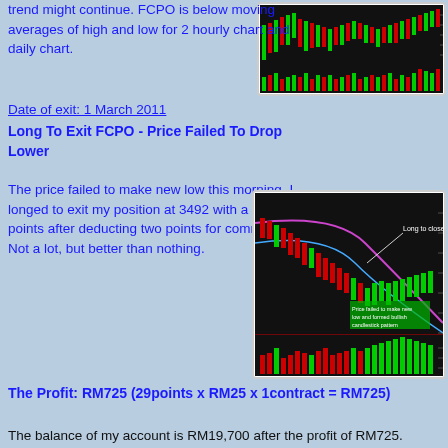trend might continue. FCPO is below moving averages of high and low for 2 hourly chart and daily chart.
[Figure (screenshot): FCPO candlestick chart showing price trend with green and red bars on dark background]
Date of exit: 1 March 2011
Long To Exit FCPO - Price Failed To Drop Lower
The price failed to make new low this morning. I longed to exit my position at 3492 with a gain of 29 points after deducting two points for commission. Not a lot, but better than nothing.
[Figure (screenshot): FCPO candlestick chart with annotation 'Long to close at 3492' and 'Price failed to make new low and formed bullish candlestick pattern']
The Profit: RM725 (29points x RM25 x 1contract = RM725)
The balance of my account is RM19,700 after the profit of RM725.
(The details of my account is at My Future Trading